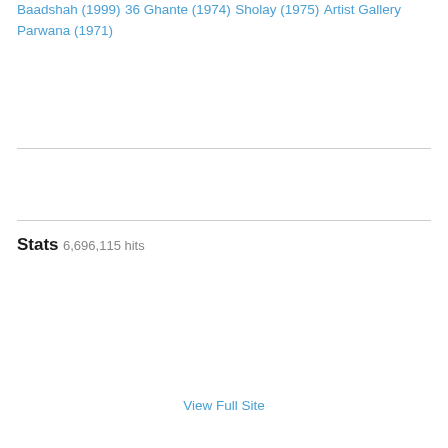Baadshah (1999)
36 Ghante (1974)
Sholay (1975)
Artist Gallery
Parwana (1971)
Stats
6,696,115 hits
View Full Site